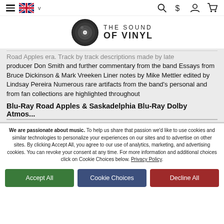Navigation bar with hamburger menu, UK flag, search, dollar sign, user, and cart icons
[Figure (logo): The Sound of Vinyl logo — vinyl record icon with text THE SOUND OF VINYL]
Road Apples era. Track by track descriptions made by late producer Don Smith and further commentary from the band Essays from Bruce Dickinson & Mark Vreeken Liner notes by Mike Mettler edited by Lindsay Pereira Numerous rare artifacts from the band's personal and from fan collections are highlighted throughout
Blu-Ray Road Apples & Saskadelphia Blu-Ray Dolby Atmos...
We are passionate about music. To help us share that passion we'd like to use cookies and similar technologies to personalize your experiences on our sites and to advertise on other sites. By clicking Accept All, you agree to our use of analytics, marketing, and advertising cookies. You can revoke your consent at any time. For more information and additional choices click on Cookie Choices below. Privacy Policy.
Accept All
Cookie Choices
Decline All